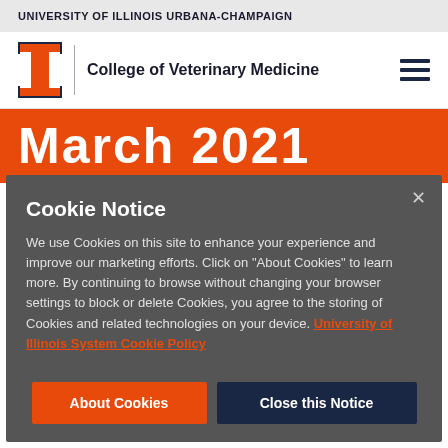UNIVERSITY OF ILLINOIS URBANA-CHAMPAIGN
College of Veterinary Medicine
March 2021
Cookie Notice
We use Cookies on this site to enhance your experience and improve our marketing efforts. Click on "About Cookies" to learn more. By continuing to browse without changing your browser settings to block or delete Cookies, you agree to the storing of Cookies and related technologies on your device. University of Illinois System Cookie Policy